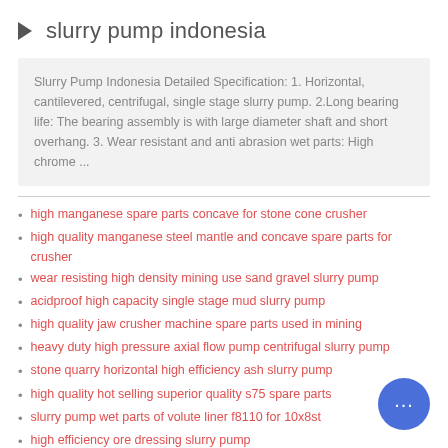slurry pump indonesia
Slurry Pump Indonesia Detailed Specification: 1. Horizontal, cantilevered, centrifugal, single stage slurry pump. 2.Long bearing life: The bearing assembly is with large diameter shaft and short overhang. 3. Wear resistant and anti abrasion wet parts: High chrome ...
high manganese spare parts concave for stone cone crusher
high quality manganese steel mantle and concave spare parts for crusher
wear resisting high density mining use sand gravel slurry pump
acidproof high capacity single stage mud slurry pump
high quality jaw crusher machine spare parts used in mining
heavy duty high pressure axial flow pump centrifugal slurry pump
stone quarry horizontal high efficiency ash slurry pump
high quality hot selling superior quality s75 spare parts
slurry pump wet parts of volute liner f8110 for 10x8st
high efficiency ore dressing slurry pump
spare parts cone crusher singapore
spare parts protable